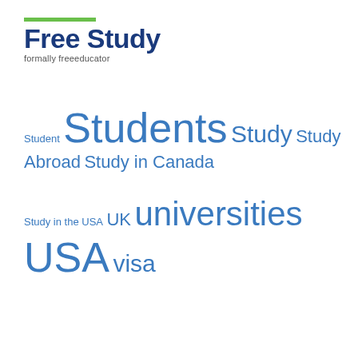[Figure (logo): Free Study logo with green bar above and tagline 'formally freeeducator' below]
Student Students Study Study Abroad Study in Canada Study in the USA UK universities USA visa